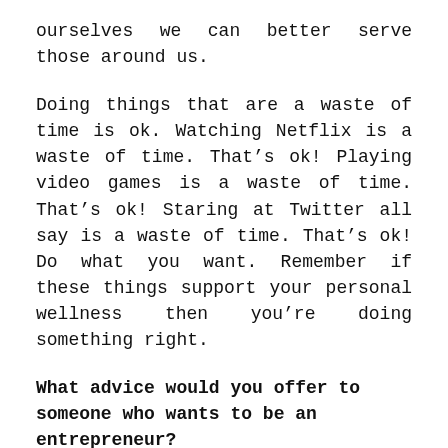ourselves we can better serve those around us.
Doing things that are a waste of time is ok. Watching Netflix is a waste of time. That’s ok! Playing video games is a waste of time. That’s ok! Staring at Twitter all say is a waste of time. That’s ok! Do what you want. Remember if these things support your personal wellness then you’re doing something right.
What advice would you offer to someone who wants to be an entrepreneur?